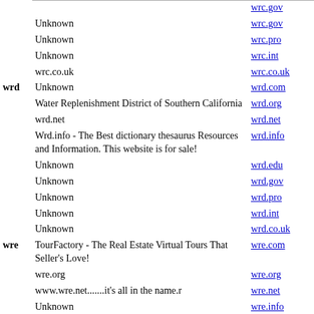| Key | Description | Link |
| --- | --- | --- |
|  | Unknown | wrc.gov |
|  | Unknown | wrc.pro |
|  | Unknown | wrc.int |
|  | wrc.co.uk | wrc.co.uk |
| wrd | Unknown | wrd.com |
|  | Water Replenishment District of Southern California | wrd.org |
|  | wrd.net | wrd.net |
|  | Wrd.info - The Best dictionary thesaurus Resources and Information. This website is for sale! | wrd.info |
|  | Unknown | wrd.edu |
|  | Unknown | wrd.gov |
|  | Unknown | wrd.pro |
|  | Unknown | wrd.int |
|  | Unknown | wrd.co.uk |
| wre | TourFactory - The Real Estate Virtual Tours That Seller's Love! | wre.com |
|  | wre.org | wre.org |
|  | www.wre.net.......it's all in the name.r | wre.net |
|  | Unknown | wre.info |